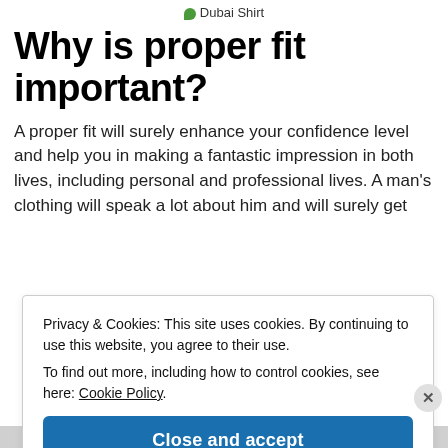Dubai Shirt
Why is proper fit important?
A proper fit will surely enhance your confidence level and help you in making a fantastic impression in both lives, including personal and professional lives. A man's clothing will speak a lot about him and will surely get
Privacy & Cookies: This site uses cookies. By continuing to use this website, you agree to their use.
To find out more, including how to control cookies, see here: Cookie Policy
Close and accept
Advertisements